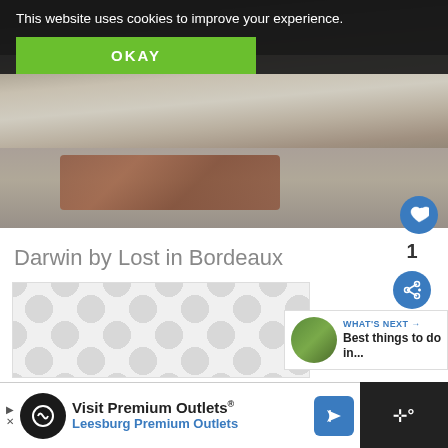This website uses cookies to improve your experience.
OKAY
[Figure (photo): Outdoor cafe scene with people sitting on sofas and chairs around a wooden spool coffee table on a rug in an open hall space]
Darwin by Lost in Bordeaux
1
[Figure (other): Placeholder tile with repeating circular dot pattern]
WHAT'S NEXT → Best things to do in...
Visit Premium Outlets® Leesburg Premium Outlets